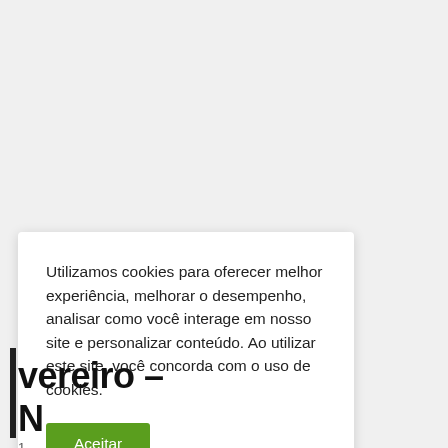Utilizamos cookies para oferecer melhor experiência, melhorar o desempenho, analisar como você interage em nosso site e personalizar conteúdo. Ao utilizar este site, você concorda com o uso de cookies.
Aceitar
vereiro –
N
1